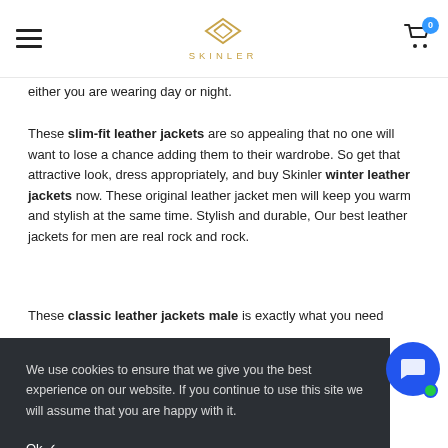SKINLER
either you are wearing day or night.
These slim-fit leather jackets are so appealing that no one will want to lose a chance adding them to their wardrobe. So get that attractive look, dress appropriately, and buy Skinler winter leather jackets now. These original leather jacket men will keep you warm and stylish at the same time. Stylish and durable, Our best leather jackets for men are real rock and rock.
These classic leather jackets male is exactly what you need
We use cookies to ensure that we give you the best experience on our website. If you continue to use this site we will assume that you are happy with it.
Ok ✓
My account